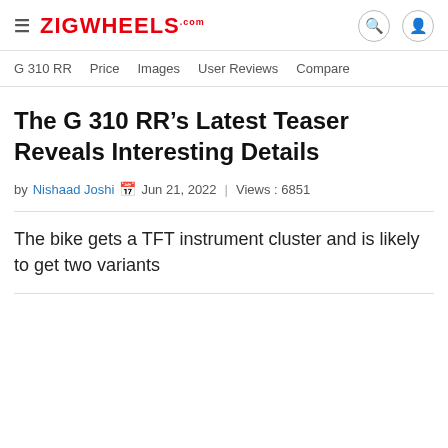ZIGWHEELS.com
G 310 RR | Price | Images | User Reviews | Compare
The G 310 RR’s Latest Teaser Reveals Interesting Details
by Nishaad Joshi | Jun 21, 2022 | Views : 6851
The bike gets a TFT instrument cluster and is likely to get two variants